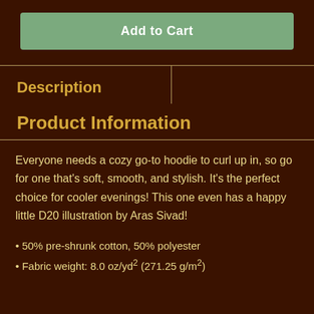Add to Cart
Description
Product Information
Everyone needs a cozy go-to hoodie to curl up in, so go for one that's soft, smooth, and stylish. It's the perfect choice for cooler evenings! This one even has a happy little D20 illustration by Aras Sivad!
50% pre-shrunk cotton, 50% polyester
Fabric weight: 8.0 oz/yd² (271.25 g/m²)